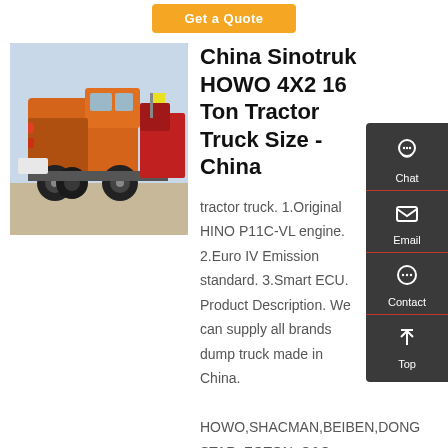Get a Quote
[Figure (photo): Orange Sinotruk HOWO 4X2 tractor truck photographed from the rear-side in a parking lot, with red trucks visible in the background]
China Sinotruk HOWO 4X2 16 Ton Tractor Truck Size - China
tractor truck. 1.Original HINO P11C-VL engine. 2.Euro IV Emission standard. 3.Smart ECU. Product Description. We can supply all brands dump truck made in China. HOWO,SHACMAN,BEIBEN,DONG STAR, FOTON, C&C, and so on. More details for these trucks, feel